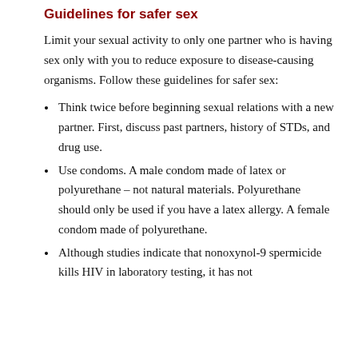Guidelines for safer sex
Limit your sexual activity to only one partner who is having sex only with you to reduce exposure to disease-causing organisms. Follow these guidelines for safer sex:
Think twice before beginning sexual relations with a new partner. First, discuss past partners, history of STDs, and drug use.
Use condoms. A male condom made of latex or polyurethane – not natural materials. Polyurethane should only be used if you have a latex allergy. A female condom made of polyurethane.
Although studies indicate that nonoxynol-9 spermicide kills HIV in laboratory testing, it has not